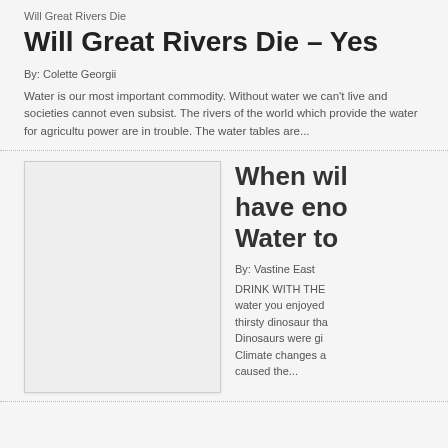Will Great Rivers Die
Will Great Rivers Die – Yes
By: Colette Georgii
Water is our most important commodity. Without water we can't live and societies cannot even subsist. The rivers of the world which provide the water for agriculture power are in trouble. The water tables are...
[Figure (photo): Blank/white placeholder image box]
When wil have eno Water to
By: Vastine East
DRINK WITH THE water you enjoyed thirsty dinosaur tha Dinosaurs were gi Climate changes a caused the...